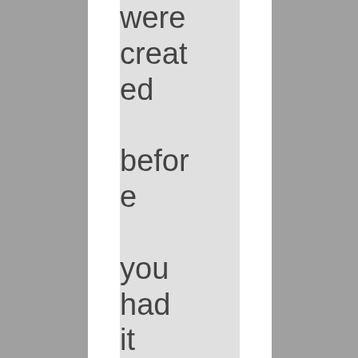were created before you had it working? When you complete